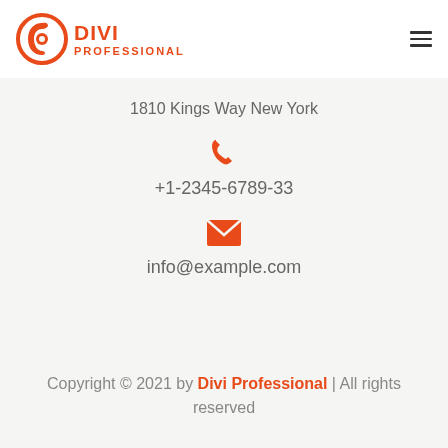[Figure (logo): Divi Professional logo with orange circular icon and text]
1810 Kings Way New York
+1-2345-6789-33
info@example.com
Copyright © 2021 by Divi Professional | All rights reserved